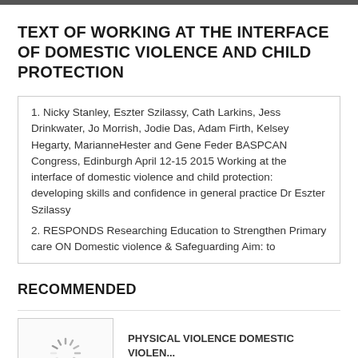TEXT OF WORKING AT THE INTERFACE OF DOMESTIC VIOLENCE AND CHILD PROTECTION
1. Nicky Stanley, Eszter Szilassy, Cath Larkins, Jess Drinkwater, Jo Morrish, Jodie Das, Adam Firth, Kelsey Hegarty, MarianneHester and Gene Feder BASPCAN Congress, Edinburgh April 12-15 2015 Working at the interface of domestic violence and child protection: developing skills and confidence in general practice Dr Eszter Szilassy
2. RESPONDS Researching Education to Strengthen Primary care ON Domestic violence & Safeguarding Aim: to
RECOMMENDED
[Figure (other): Loading spinner / thumbnail placeholder with circular loading animation icon]
PHYSICAL VIOLENCE DOMESTIC VIOLEN...
DOCUMENTS